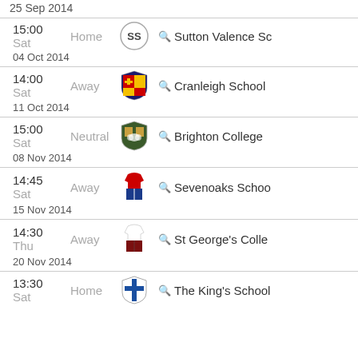| Date | Time | Day | Venue | Logo | School |
| --- | --- | --- | --- | --- | --- |
| 25 Sep 2014 |  |  |  |  |  |
| 04 Oct 2014 | 15:00 | Sat | Home | SS | Sutton Valence School |
| 11 Oct 2014 | 14:00 | Sat | Away | Cranleigh crest | Cranleigh School |
| 08 Nov 2014 | 15:00 | Sat | Neutral | Brighton crest | Brighton College |
| 15 Nov 2014 | 14:45 | Sat | Away | Sevenoaks kit | Sevenoaks School |
| 20 Nov 2014 | 14:30 | Thu | Away | St Georges kit | St George's College |
|  | 13:30 | Sat | Home | Kings crest | The King's School |